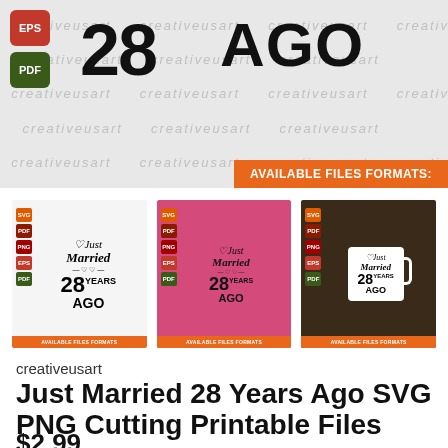[Figure (screenshot): Product listing banner showing '28 AGO' in large bold text, EPS and PDF format icons on the left, watermark repeating 'creativeusart', and an orange 'AVAILABLE FILES FORMATS:' tag at bottom right]
[Figure (screenshot): Three product thumbnail images showing 'Just Married 28 Years Ago' SVG design - first on white background, second on pink t-shirt, third on white mug]
creativeusart
Just Married 28 Years Ago SVG PNG Cutting Printable Files
$2.99